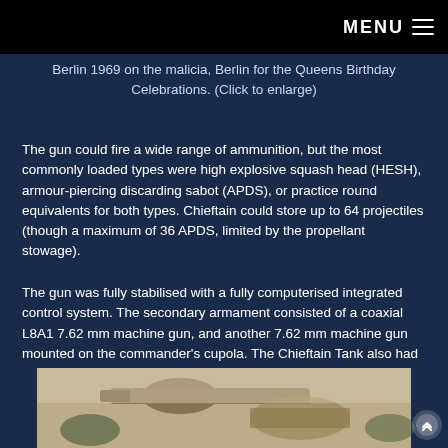MENU ☰
Berlin 1969 on the malicia, Berlin for the Queens Birthday Celebrations. (Click to enlarge)
The gun could fire a wide range of ammunition, but the most commonly loaded types were high explosive squash head (HESH), armour-piercing discarding sabot (APDS), or practice round equivalents for both types. Chieftain could store up to 64 projectiles (though a maximum of 36 APDS, limited by the propellant stowage).
The gun was fully stabilised with a fully computerised integrated control system. The secondary armament consisted of a coaxial L8A1 7.62 mm machine gun, and another 7.62 mm machine gun mounted on the commander's cupola. The Chieftain Tank also had an NBC protection system, which Centurion lacked.
[Figure (photo): Partial view of a Chieftain tank gun barrel and turret, sepia-toned photograph, partially visible at bottom of page.]